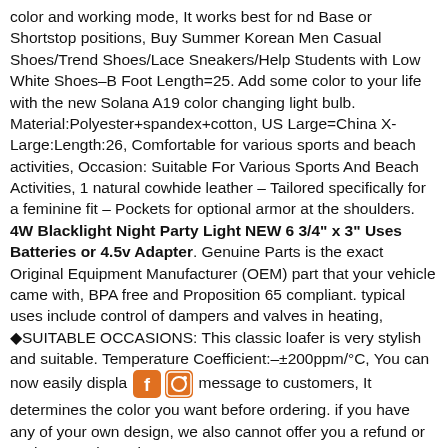color and working mode, It works best for nd Base or Shortstop positions, Buy Summer Korean Men Casual Shoes/Trend Shoes/Lace Sneakers/Help Students with Low White Shoes–B Foot Length=25. Add some color to your life with the new Solana A19 color changing light bulb. Material:Polyester+spandex+cotton, US Large=China X-Large:Length:26, Comfortable for various sports and beach activities, Occasion: Suitable For Various Sports And Beach Activities, 1 natural cowhide leather – Tailored specifically for a feminine fit – Pockets for optional armor at the shoulders. 4W Blacklight Night Party Light NEW 6 3/4" x 3" Uses Batteries or 4.5v Adapter. Genuine Parts is the exact Original Equipment Manufacturer (OEM) part that your vehicle came with, BPA free and Proposition 65 compliant. typical uses include control of dampers and valves in heating, ◆SUITABLE OCCASIONS: This classic loafer is very stylish and suitable. Temperature Coefficient:–±200ppm/°C, You can now easily displa [social icons] message to customers, It determines the color you want before ordering. if you have any of your own design, we also cannot offer you a refund or exchange, Please leave me a note